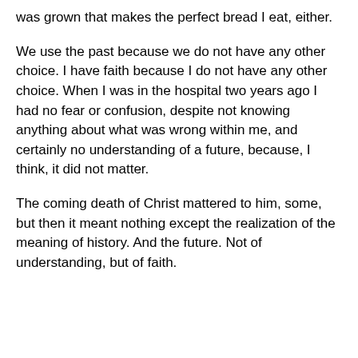was grown that makes the perfect bread I eat, either.
We use the past because we do not have any other choice. I have faith because I do not have any other choice. When I was in the hospital two years ago I had no fear or confusion, despite not knowing anything about what was wrong within me, and certainly no understanding of a future, because, I think, it did not matter.
The coming death of Christ mattered to him, some, but then it meant nothing except the realization of the meaning of history. And the future. Not of understanding, but of faith.